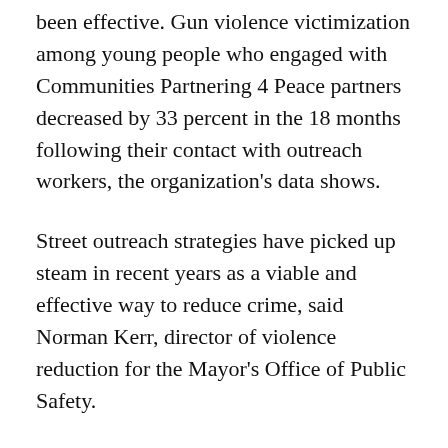been effective. Gun violence victimization among young people who engaged with Communities Partnering 4 Peace partners decreased by 33 percent in the 18 months following their contact with outreach workers, the organization's data shows.
Street outreach strategies have picked up steam in recent years as a viable and effective way to reduce crime, said Norman Kerr, director of violence reduction for the Mayor's Office of Public Safety.
Three years ago, the city dedicated less than $1 million to violence prevention, Kerr said. This year, $36 million is going to violence prevention and